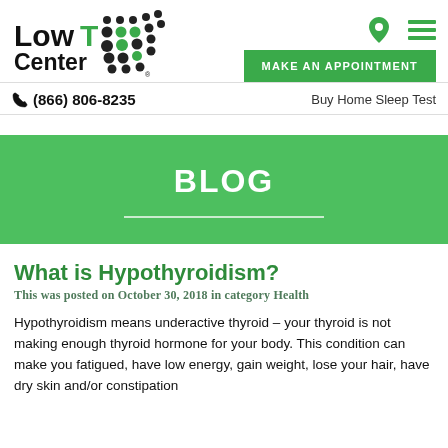[Figure (logo): Low T Center logo with black and green dot pattern]
[Figure (other): Location pin icon and hamburger menu icon]
MAKE AN APPOINTMENT
(866) 806-8235
Buy Home Sleep Test
BLOG
What is Hypothyroidism?
This was posted on October 30, 2018 in category Health
Hypothyroidism means underactive thyroid – your thyroid is not making enough thyroid hormone for your body. This condition can make you fatigued, have low energy, gain weight, lose your hair, have dry skin and/or constipation